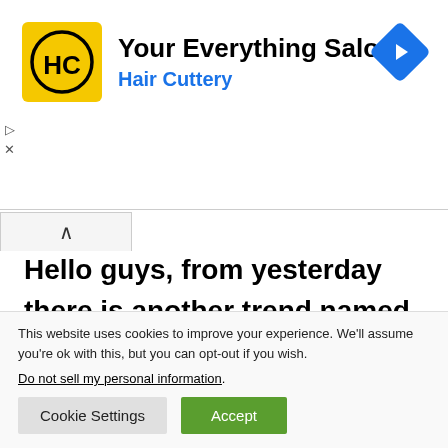[Figure (logo): Hair Cuttery advertisement banner with HC logo (yellow square with HC monogram), title 'Your Everything Salon', subtitle 'Hair Cuttery', and a blue diamond navigation icon on the right. Play and X controls on the left.]
Hello guys, from yesterday there is another trend named ofFthewock43 Twitter. He is posting NSFW content and that's why there are lots of searches about this on Google and
This website uses cookies to improve your experience. We'll assume you're ok with this, but you can opt-out if you wish.
Do not sell my personal information.
Cookie Settings  Accept